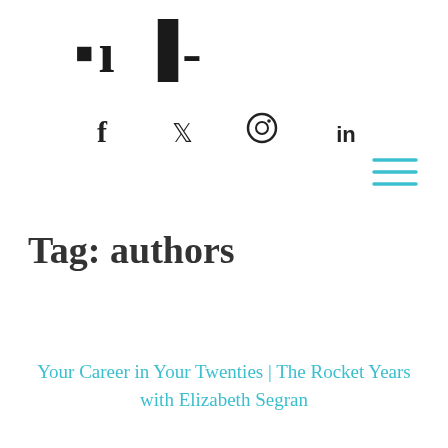[Figure (logo): Partial website logo text in bold serif font, partially cropped at top]
[Figure (infographic): Social media icons: f (Facebook), bird (Twitter), circle camera (Instagram), in (LinkedIn)]
[Figure (other): Hamburger menu icon (three horizontal teal lines) in top right area]
Tag: authors
Your Career in Your Twenties | The Rocket Years with Elizabeth Segran